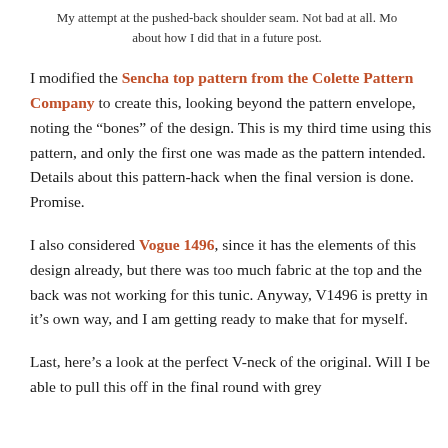My attempt at the pushed-back shoulder seam. Not bad at all. Mo... about how I did that in a future post.
I modified the Sencha top pattern from the Colette Pattern Company to create this, looking beyond the pattern envelope, noting the “bones” of the design. This is my third time using this pattern, and only the first one was made as the pattern intended.  Details about this pattern-hack when the final version is done. Promise.
I also considered Vogue 1496, since it has the elements of this design already, but there was too much fabric at the top and the back was not working for this tunic. Anyway, V1496 is pretty in it’s own way, and I am getting ready to make that for myself.
Last, here’s a look at the perfect V-neck of the original. Will I be able to pull this off in the final round with grey